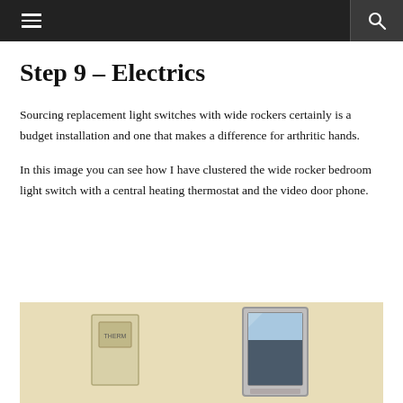≡  🔍
Step 9 – Electrics
Sourcing replacement light switches with wide rockers certainly is a budget installation and one that makes a difference for arthritic hands.
In this image you can see how I have clustered the wide rocker bedroom light switch with a central heating thermostat and the video door phone.
[Figure (photo): Photo of a wall-mounted video door phone screen next to a thermostat and light switch cluster, mounted on a pale yellow wall.]